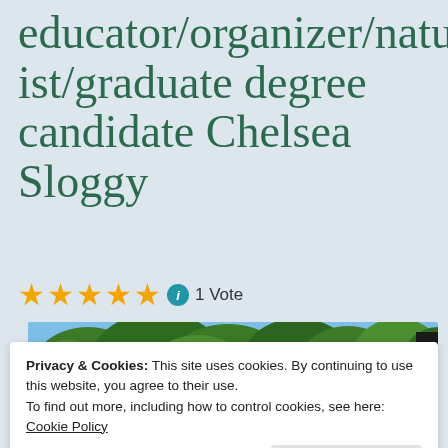educator/organizer/naturalist/graduate degree candidate Chelsea Sloggy
1 Vote
[Figure (photo): Outdoor photo showing green trees against a blue sky]
Privacy & Cookies: This site uses cookies. By continuing to use this website, you agree to their use.
To find out more, including how to control cookies, see here: Cookie Policy
Close and accept